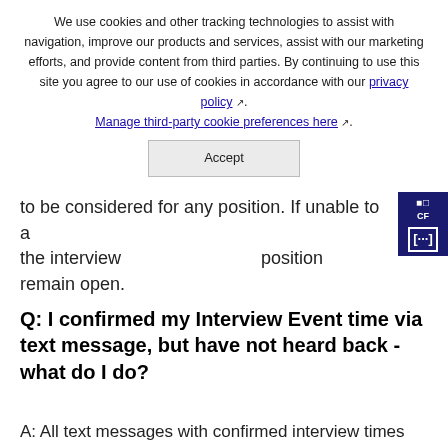We use cookies and other tracking technologies to assist with navigation, improve our products and services, assist with our marketing efforts, and provide content from third parties. By continuing to use this site you agree to our use of cookies in accordance with our privacy policy. Manage third-party cookie preferences here.
to be considered for any position. If unable to attend the interview, the position remain open.
Q: I confirmed my Interview Event time via text message, but have not heard back - what do I do?
A: All text messages with confirmed interview times are automatically recorded. We look forward to seeing you at the Interview Event!
Q: Around how many interviews will it take for a